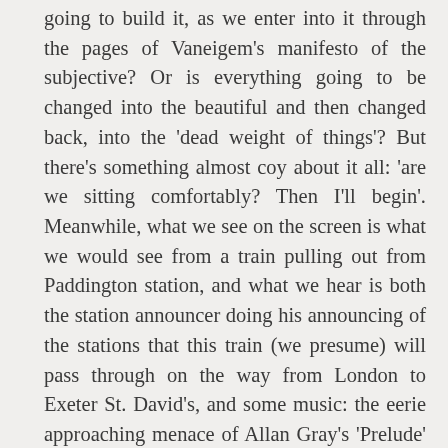going to build it, as we enter into it through the pages of Vaneigem's manifesto of the subjective? Or is everything going to be changed into the beautiful and then changed back, into the 'dead weight of things'? But there's something almost coy about it all: 'are we sitting comfortably? Then I'll begin'. Meanwhile, what we see on the screen is what we would see from a train pulling out from Paddington station, and what we hear is both the station announcer doing his announcing of the stations that this train (we presume) will pass through on the way from London to Exeter St. David's, and some music: the eerie approaching menace of Allan Gray's 'Prelude' to Powell and Pressburger's A Matter of Life and Death. But what is revealed through the twin frames and gateways of the camera lens and the window of the train is a characteristic landscape of modern Britain: late nineteenth-century brick walls, graffiti,